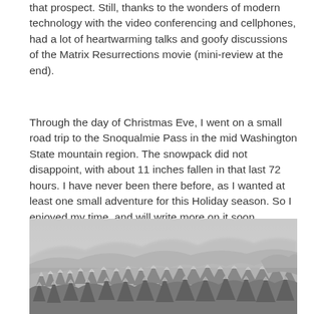that prospect. Still, thanks to the wonders of modern technology with the video conferencing and cellphones, had a lot of heartwarming talks and goofy discussions of the Matrix Resurrections movie (mini-review at the end).
Through the day of Christmas Eve, I went on a small road trip to the Snoqualmie Pass in the mid Washington State mountain region. The snowpack did not disappoint, with about 11 inches fallen in that last 72 hours. I have never been there before, as I wanted at least one small adventure for this Holiday season. So I enjoyed my time, and will write more on it soon.
[Figure (photo): Aerial or elevated view of snow-covered forested mountain landscape in Washington State, misty gray sky, dense evergreen trees blanketed in snow.]